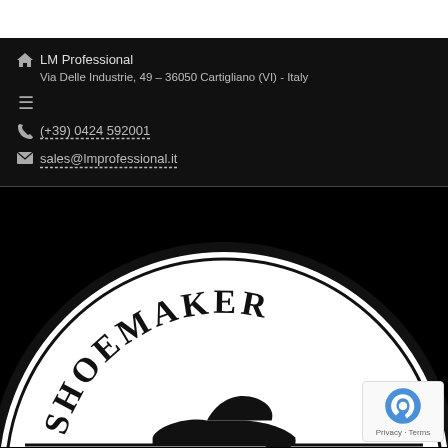LM Professional
Via Delle Industrie, 49 – 36050 Cartigliano (VI) - Italy
(+39) 0424 592001
sales@lmprofessional.it
[Figure (logo): Circular LM Professional Shoemaker logo — black and white stamp-style seal with 'SHOEMAKER' arched at top, a dress shoe silhouette in center, and 'LM PROFESSIONAL' in large bold serif text across the bottom band, partially cropped at page edge.]